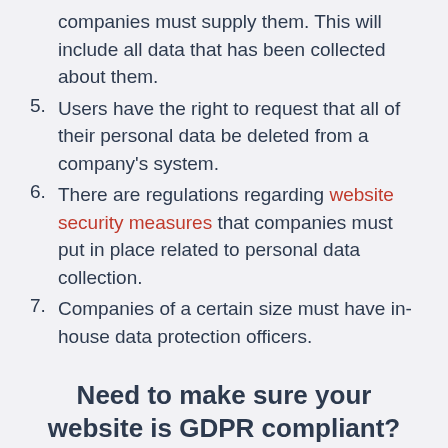companies must supply them. This will include all data that has been collected about them.
5. Users have the right to request that all of their personal data be deleted from a company's system.
6. There are regulations regarding website security measures that companies must put in place related to personal data collection.
7. Companies of a certain size must have in-house data protection officers.
Need to make sure your website is GDPR compliant?
Admiral VRM includes a certified Consent